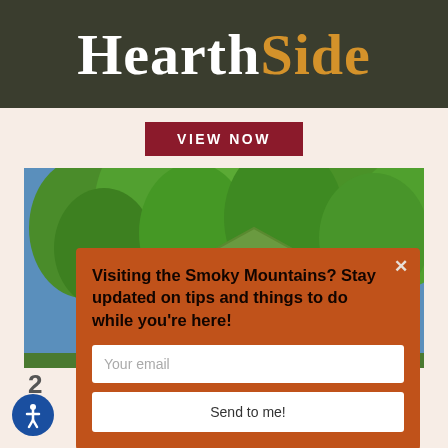HearthSide
VIEW NOW
[Figure (photo): A wooden cabin with a green metal roof nestled among tall green trees in the Smoky Mountains.]
Visiting the Smoky Mountains? Stay updated on tips and things to do while you're here!
Your email
Send to me!
2
$